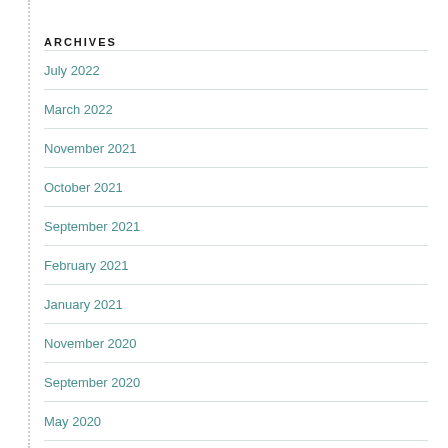ARCHIVES
July 2022
March 2022
November 2021
October 2021
September 2021
February 2021
January 2021
November 2020
September 2020
May 2020
January 2020
December 2019